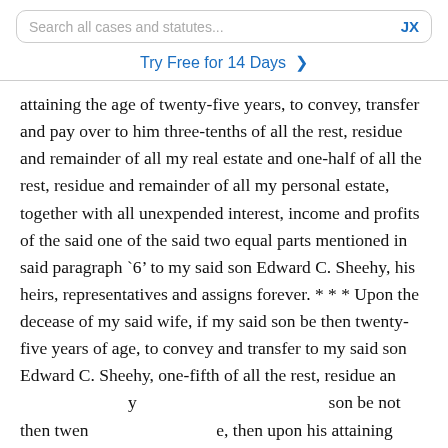Search all cases and statutes...   JX
Try Free for 14 Days >
attaining the age of twenty-five years, to convey, transfer and pay over to him three-tenths of all the rest, residue and remainder of all my real estate and one-half of all the rest, residue and remainder of all my personal estate, together with all unexpended interest, income and profits of the said one of the said two equal parts mentioned in said paragraph `6' to my said son Edward C. Sheehy, his heirs, representatives and assigns forever. * * * Upon the decease of my said wife, if my said son be then twenty-five years of age, to convey and transfer to my said son Edward C. Sheehy, one-fifth of all the rest, residue and remainder of my personal estate. If my said son be not then twenty-five years of age, then upon his attaining that age."